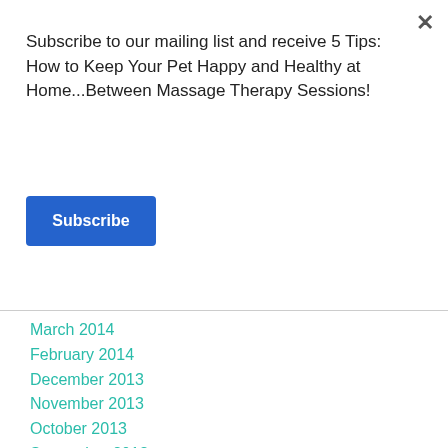Subscribe to our mailing list and receive 5 Tips: How to Keep Your Pet Happy and Healthy at Home...Between Massage Therapy Sessions!
Subscribe
March 2014
February 2014
December 2013
November 2013
October 2013
September 2013
August 2013
July 2013
June 2013
May 2013
April 2013
March 2013
February 2013